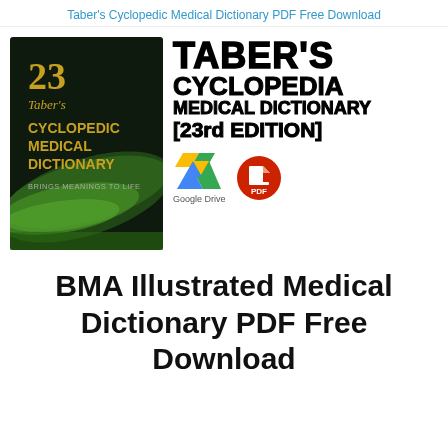Taber's Cyclopedic Medical Dictionary PDF Free Download
[Figure (illustration): Book cover of Taber's Cyclopedic Medical Dictionary 23rd edition with dark green background and gold/white text, showing '23 Taber's CYCLOPEDIC MEDICAL DICTIONARY BRINGS MEANINGS TO LIFE' text; alongside large bold block-letter title 'TABER'S CYCLOPEDIA MEDICAL DICTIONARY [23rd EDITION]' with Google Drive and PDF icons below]
BMA Illustrated Medical Dictionary PDF Free Download